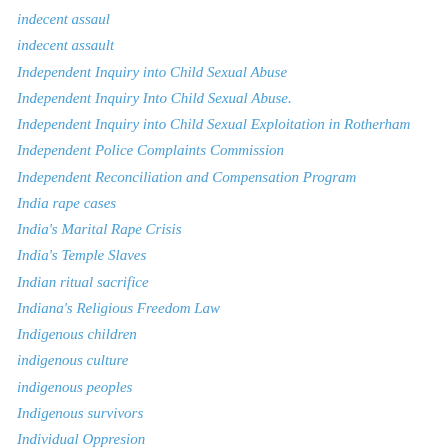indecent assaul
indecent assault
Independent Inquiry into Child Sexual Abuse
Independent Inquiry Into Child Sexual Abuse.
Independent Inquiry into Child Sexual Exploitation in Rotherham
Independent Police Complaints Commission
Independent Reconciliation and Compensation Program
India rape cases
India's Marital Rape Crisis
India's Temple Slaves
Indian ritual sacrifice
Indiana's Religious Freedom Law
Indigenous children
indigenous culture
indigenous peoples
Indigenous survivors
Individual Oppresion
indoctrination
infidelity
informed consent